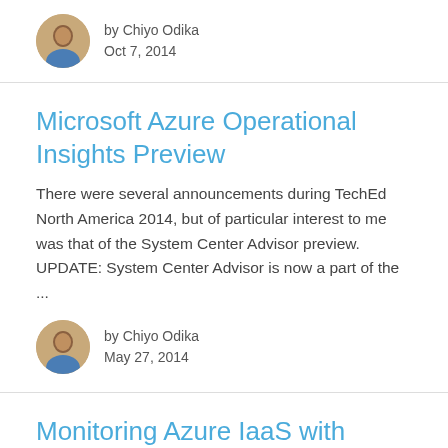by Chiyo Odika
Oct 7, 2014
Microsoft Azure Operational Insights Preview
There were several announcements during TechEd North America 2014, but of particular interest to me was that of the System Center Advisor preview. UPDATE: System Center Advisor is now a part of the ...
by Chiyo Odika
May 27, 2014
Monitoring Azure IaaS with